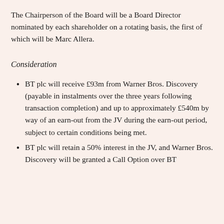The Chairperson of the Board will be a Board Director nominated by each shareholder on a rotating basis, the first of which will be Marc Allera.
Consideration
BT plc will receive £93m from Warner Bros. Discovery (payable in instalments over the three years following transaction completion) and up to approximately £540m by way of an earn-out from the JV during the earn-out period, subject to certain conditions being met.
BT plc will retain a 50% interest in the JV, and Warner Bros. Discovery will be granted a Call Option over BT